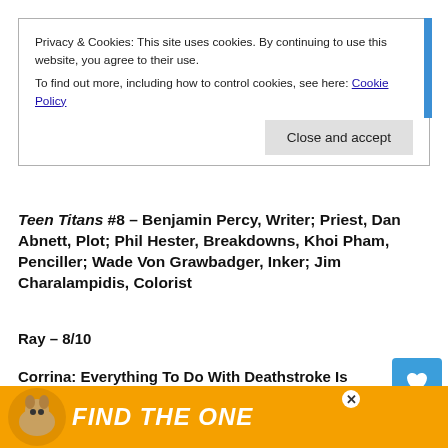Privacy & Cookies: This site uses cookies. By continuing to use this website, you agree to their use.
To find out more, including how to control cookies, see here: Cookie Policy
Close and accept
Teen Titans #8 – Benjamin Percy, Writer; Priest, Dan Abnett, Plot; Phil Hester, Breakdowns, Khoi Pham, Penciller; Wade Von Grawbadger, Inker; Jim Charalampidis, Colorist
Ray – 8/10
Corrina: Everything To Do With Deathstroke Is Great
Ray: Although he's in the background here, this issue drives ho exactly what makes Deathstroke such a deadly villain – he's a r gamer. Last issue, we saw that he had already captured the young Wally took
[Figure (screenshot): Ad banner: FIND THE ONE with a dog image and close button]